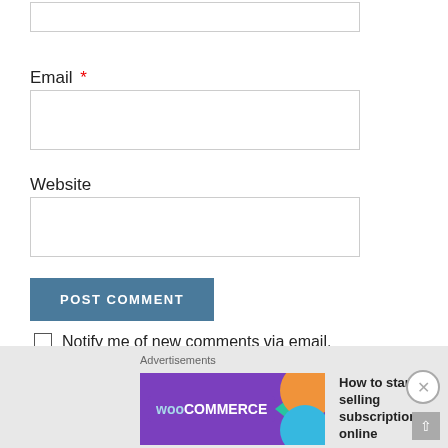(top input box - partial, cropped)
Email *
Website
POST COMMENT
Notify me of new comments via email.
Notify me of new posts via email.
Advertisements
[Figure (screenshot): WooCommerce advertisement banner: 'How to start selling subscriptions online']